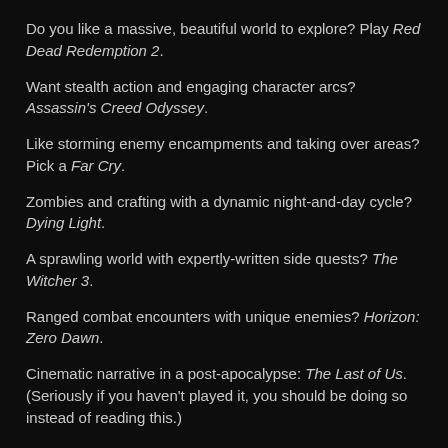Do you like a massive, beautiful world to explore? Play Red Dead Redemption 2.
Want stealth action and engaging character arcs? Assassin's Creed Odyssey.
Like storming enemy encampments and taking over areas? Pick a Far Cry.
Zombies and crafting with a dynamic night-and-day cycle? Dying Light.
A sprawling world with expertly-written side quests? The Witcher 3.
Ranged combat encounters with unique enemies? Horizon: Zero Dawn.
Cinematic narrative in a post-apocalypse: The Last of Us. (Seriously if you haven't played it, you should be doing so instead of reading this.)